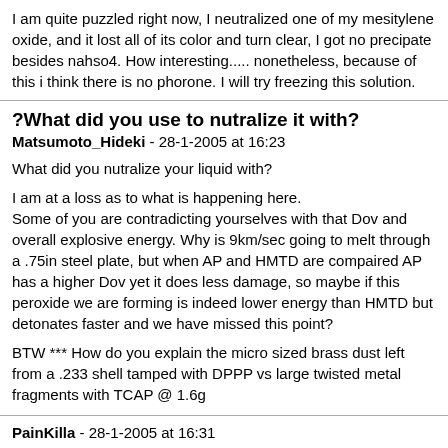I am quite puzzled right now, I neutralized one of my mesitylene oxide, and it lost all of its color and turn clear, I got no precipate besides nahso4. How interesting..... nonetheless, because of this i think there is no phorone. I will try freezing this solution.
?What did you use to nutralize it with?
Matsumoto_Hideki - 28-1-2005 at 16:23
What did you nutralize your liquid with?

I am at a loss as to what is happening here.
Some of you are contradicting yourselves with that Dov and overall explosive energy. Why is 9km/sec going to melt through a .75in steel plate, but when AP and HMTD are compaired AP has a higher Dov yet it does less damage, so maybe if this peroxide we are forming is indeed lower energy than HMTD but detonates faster and we have missed this point?

BTW *** How do you explain the micro sized brass dust left from a .233 shell tamped with DPPP vs large twisted metal fragments with TCAP @ 1.6g
PainKilla - 28-1-2005 at 16:31
I used NaHCO3 to neutralize. Regarding your probelm understanding the pwoer....